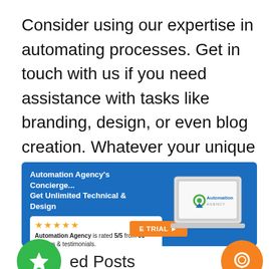Consider using our expertise in automating processes. Get in touch with us if you need assistance with tasks like branding, design, or even blog creation. Whatever your unique needs are, you can always contact our Concierge Service and learn more.
[Figure (screenshot): Automation Agency's Concierge banner with headline 'Automation Agency's Concierge... Get Unlimited Technical & Design', star rating showing 5/5 from 90 reviews, a free trial button, and laptop image showing Automation Agency logo.]
ed Posts